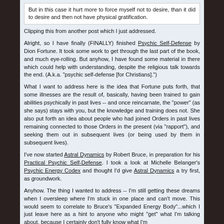But in this case it hurt more to force myself not to desire, than it did to desire and then not have physical gratification.
Clipping this from another post which I just addressed.
Alright, so I have finally (FINALLY) finished Psychic Self-Defense by Dion Fortune. It took some work to get through the last part of the book, and much eye-rolling. But anyhow, I have found some material in there which could help with understanding, despite the religious talk towards the end. (A.k.a. "psychic self-defense [for Christians].")
What I want to address here is the idea that Fortune puts forth, that some illnesses are the result of, basically, having been trained to gain abilities psychically in past lives -- and once reincarnate, the "power" (as she says) stays with you, but the knowledge and training does not. She also put forth an idea about people who had joined Orders in past lives remaining connected to those Orders in the present (via "rapport"), and seeking them out in subsequent lives (or being used by them in subsequent lives).
I've now started Astral Dynamics by Robert Bruce, in preparation for his Practical Psychic Self-Defense. I took a look at Michelle Belanger's Psychic Energy Codex and thought I'd give Astral Dynamics a try first, as groundwork.
Anyhow. The thing I wanted to address -- I'm still getting these dreams when I oversleep where I'm stuck in one place and can't move. This would seem to correlate to Bruce's "Expanded Energy Body"...which I just leave here as a hint to anyone who might "get" what I'm talking about, because I certainly don't fully know what I'm